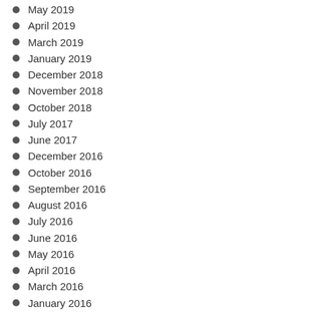May 2019
April 2019
March 2019
January 2019
December 2018
November 2018
October 2018
July 2017
June 2017
December 2016
October 2016
September 2016
August 2016
July 2016
June 2016
May 2016
April 2016
March 2016
January 2016
December 2015
November 2015
October 2015